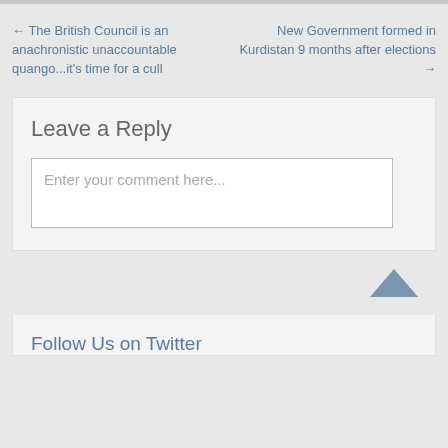← The British Council is an anachronistic unaccountable quango...it's time for a cull
New Government formed in Kurdistan 9 months after elections →
Leave a Reply
Enter your comment here...
Follow Us on Twitter